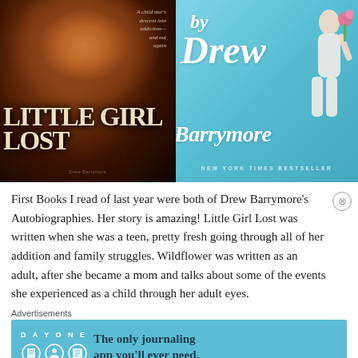[Figure (photo): Two book covers side by side: Left cover shows 'Little Girl Lost' by Drew Barrymore - dark background with young woman's face, white serif title text, subtitle 'A child star's descent into addiction—and out again'. Right cover shows 'Wildflower by Drew Barrymore' - light blue background with young woman holding a flower, handwritten-style white title text, 'New York Times Bestseller' at bottom.]
First Books I read of last year were both of Drew Barrymore's Autobiographies. Her story is amazing! Little Girl Lost was written when she was a teen, pretty fresh going through all of her addition and family struggles. Wildflower was written as an adult, after she became a mom and talks about some of the events she experienced as a child through her adult eyes.
Advertisements
[Figure (screenshot): Advertisement for Day One journaling app. Light blue background with Day One logo, three small icons (journal, person, notebook), and text 'The only journaling app you'll ever need.']